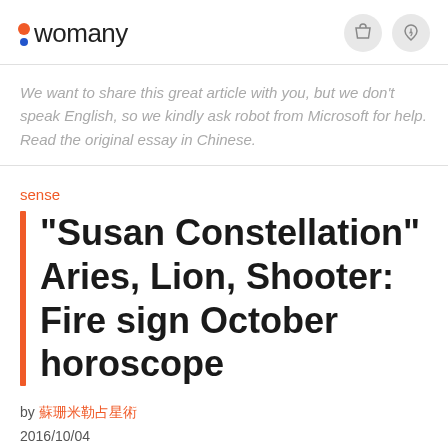womany
We want to share this great article with you, but we don't speak English, so we kindly ask robot from Microsoft for help. Read the original essay in Chinese.
sense
"Susan Constellation" Aries, Lion, Shooter: Fire sign October horoscope
by 蘇珊米勒占星術
2016/10/04